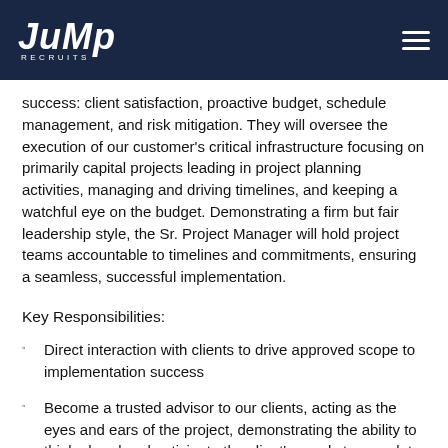JUMP RECRUITS
success: client satisfaction, proactive budget, schedule management, and risk mitigation. They will oversee the execution of our customer's critical infrastructure focusing on primarily capital projects leading in project planning activities, managing and driving timelines, and keeping a watchful eye on the budget. Demonstrating a firm but fair leadership style, the Sr. Project Manager will hold project teams accountable to timelines and commitments, ensuring a seamless, successful implementation.
Key Responsibilities:
Direct interaction with clients to drive approved scope to implementation success
Become a trusted advisor to our clients, acting as the eyes and ears of the project, demonstrating the ability to think ahead and anticipate the client's needs to complete projects on time and on